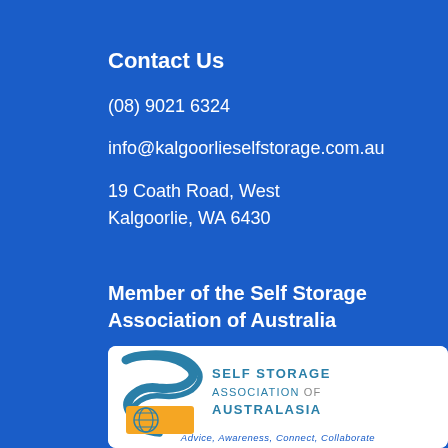Contact Us
(08) 9021 6324
info@kalgoorlieselfstorage.com.au
19 Coath Road, West Kalgoorlie, WA 6430
Member of the Self Storage Association of Australia
[Figure (logo): Self Storage Association of Australasia logo with stylized SSA letters in teal/gold and globe icon, with tagline: Advice, Awareness, Connect, Collaborate]